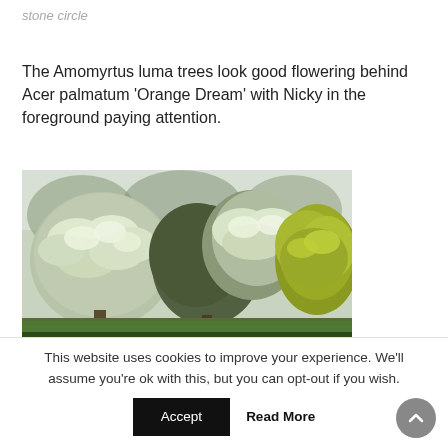stone circle
The Amomyrtus luma trees look good flowering behind Acer palmatum ‘Orange Dream’ with Nicky in the foreground paying attention.
[Figure (photo): Photo of garden trees including flowering Amomyrtus luma trees (white flowers) and a yellow-green Acer palmatum 'Orange Dream', set in a garden landscape with green lawn.]
This website uses cookies to improve your experience. We’ll assume you’re ok with this, but you can opt-out if you wish.